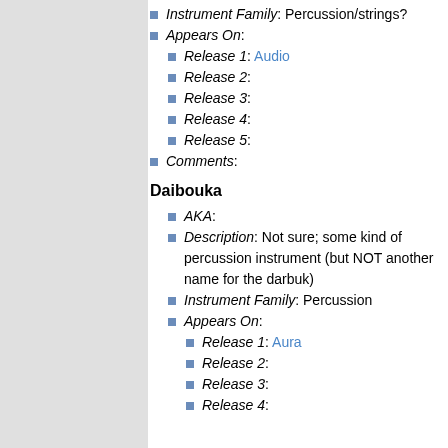Instrument Family: Percussion/strings?
Appears On:
Release 1: Audio
Release 2:
Release 3:
Release 4:
Release 5:
Comments:
Daibouka
AKA:
Description: Not sure; some kind of percussion instrument (but NOT another name for the darbuk)
Instrument Family: Percussion
Appears On:
Release 1: Aura
Release 2:
Release 3:
Release 4: